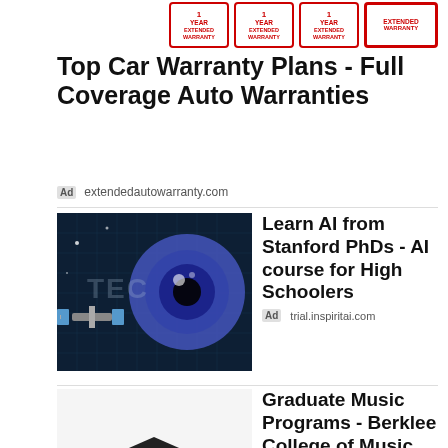[Figure (illustration): Four red stamp-style badge icons reading '1 YEAR EXTENDED WARRANTY' arranged in a row at the top]
Top Car Warranty Plans - Full Coverage Auto Warranties
Ad  extendedautowarranty.com
[Figure (photo): A dark tech-themed image with an eye and satellite, watermarked 'TEC']
Learn AI from Stanford PhDs - AI course for High Schoolers
Ad  trial.inspiritai.com
[Figure (illustration): Graduation cap with diploma on a pile of money]
Graduate Music Programs - Berklee College of Music
Ad  welcome.berklee.edu
[Figure (illustration): Partial UMHS banner image]
Be a Doctor Not a
Search for
01.  Unique Family Gifts
02.  Unique Birthday Gift Ideas For Her
Yahoo! Search | Sponsored